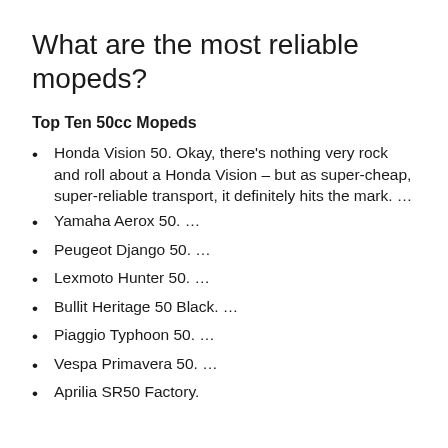What are the most reliable mopeds?
Top Ten 50cc Mopeds
Honda Vision 50. Okay, there’s nothing very rock and roll about a Honda Vision – but as super-cheap, super-reliable transport, it definitely hits the mark. …
Yamaha Aerox 50. …
Peugeot Django 50. …
Lexmoto Hunter 50. …
Bullit Heritage 50 Black. …
Piaggio Typhoon 50. …
Vespa Primavera 50. …
Aprilia SR50 Factory.